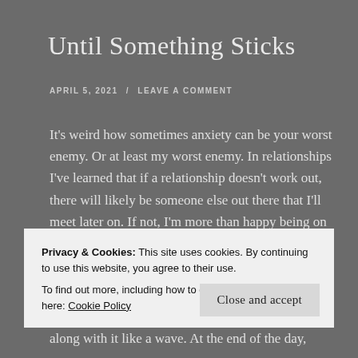Until Something Sticks
APRIL 5, 2021 / LEAVE A COMMENT
It’s weird how sometimes anxiety can be your worst enemy. Or at least my worst enemy. In relationships I’ve learned that if a relationship doesn’t work out, there will likely be someone else out there that I’ll meet later on. If not, I’m more than happy being on my own. There’s little to no anxiety in that area of
Privacy & Cookies: This site uses cookies. By continuing to use this website, you agree to their use.
To find out more, including how to control cookies, see here: Cookie Policy
along with it like a wave. At the end of the day,